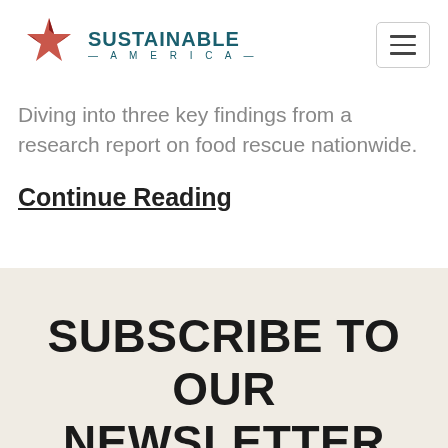SUSTAINABLE AMERICA
Diving into three key findings from a research report on food rescue nationwide.
Continue Reading
SUBSCRIBE TO OUR NEWSLETTER